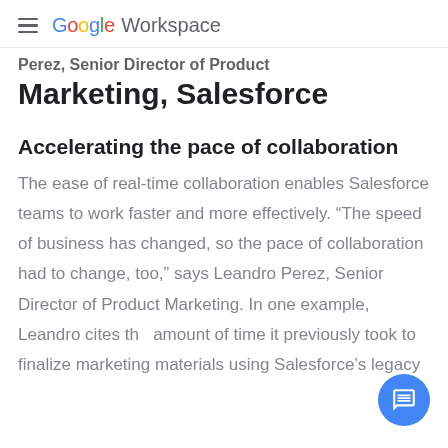Google Workspace
Perez, Senior Director of Product Marketing, Salesforce
Accelerating the pace of collaboration
The ease of real-time collaboration enables Salesforce teams to work faster and more effectively. “The speed of business has changed, so the pace of collaboration had to change, too,” says Leandro Perez, Senior Director of Product Marketing. In one example, Leandro cites the amount of time it previously took to finalize marketing materials using Salesforce’s legacy